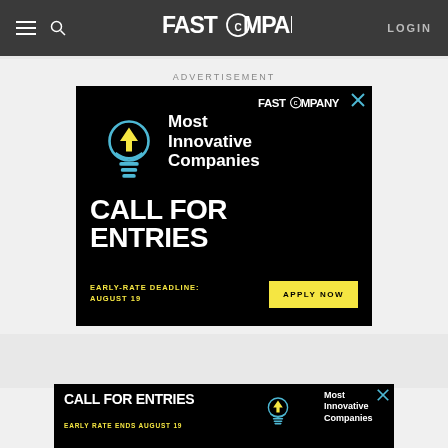FAST COMPANY — LOGIN
ADVERTISEMENT
[Figure (infographic): Fast Company Most Innovative Companies — Call For Entries advertisement. Black background with cyan/yellow lightbulb logo. Text: Most Innovative Companies, CALL FOR ENTRIES, EARLY-RATE DEADLINE: AUGUST 19. Yellow APPLY NOW button.]
[Figure (infographic): Bottom banner ad: Call For Entries, Most Innovative Companies, Early Rate Ends August 19. Black background with yellow text and lightbulb icon.]